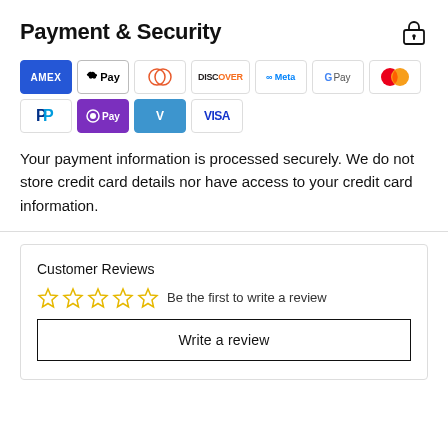Payment & Security
[Figure (infographic): Payment method icons: AMEX, Apple Pay, Diners Club, Discover, Meta Pay, Google Pay, Mastercard, PayPal, OPay, Venmo, Visa]
Your payment information is processed securely. We do not store credit card details nor have access to your credit card information.
Customer Reviews
☆☆☆☆☆  Be the first to write a review
Write a review